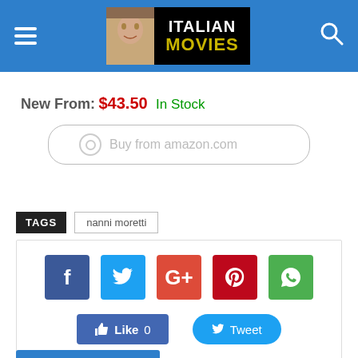Italian Movies
New From:  $43.50  In Stock
[Figure (other): Buy from amazon.com button (rounded border, gray text)]
TAGS   nanni moretti
[Figure (infographic): Social share box with Facebook, Twitter, Google+, Pinterest, WhatsApp icons, and Like 0 and Tweet buttons]